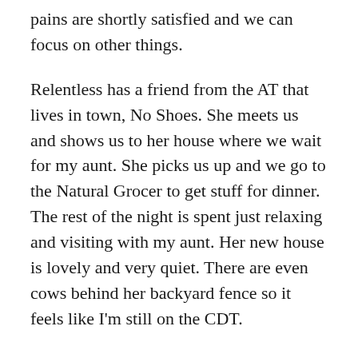pains are shortly satisfied and we can focus on other things.
Relentless has a friend from the AT that lives in town, No Shoes. She meets us and shows us to her house where we wait for my aunt. She picks us up and we go to the Natural Grocer to get stuff for dinner. The rest of the night is spent just relaxing and visiting with my aunt. Her new house is lovely and very quiet. There are even cows behind her backyard fence so it feels like I'm still on the CDT.
August 19th, 2019
Zero in Steamboat
Again, I'll combine these two days to avoid writing too much about mundane stuff on a zero day. My aunt has to go back to work at 1pm, which works out perfect for